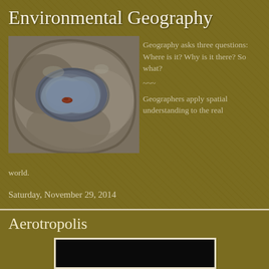Environmental Geography
[Figure (photo): Close-up photo of a rock with a carved or eroded cavity, containing a small reddish-brown seed or stone inside]
Geography asks three questions: Where is it? Why is it there? So what?
~~~
Geographers apply spatial understanding to the real world.
Saturday, November 29, 2014
Aerotropolis
[Figure (screenshot): Embedded video player with black background, partially visible at bottom of page]